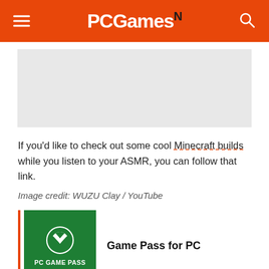PCGamesN
[Figure (other): Gray rectangular image placeholder]
If you'd like to check out some cool Minecraft builds while you listen to your ASMR, you can follow that link.
Image credit: WUZU Clay / YouTube
[Figure (logo): PC Game Pass logo - green square with Xbox controller icon and text PC GAME PASS]
Game Pass for PC